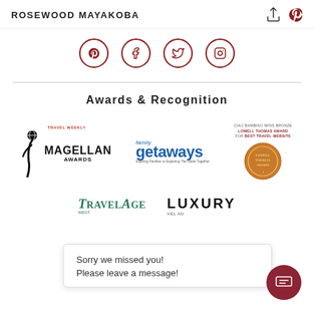ROSEWOOD MAYAKOBA
[Figure (illustration): Social media icons: Pinterest, Facebook, Twitter, Instagram — circular dark red outlined icons in a row]
Awards & Recognition
[Figure (logo): Travel Weekly Magellan Awards logo — stylized figure with globe head, text MAGELLAN AWARDS]
[Figure (logo): family getaways logo — blue italic text]
[Figure (logo): Ciao Bambino wins Bronze Lowell Thomas Award for Best Travel Website — circular medal badge]
[Figure (logo): TravelAge logo — green serif italic text]
[Figure (logo): LUXURY travel logo — bold dark letters]
Sorry we missed you! Please leave a message!